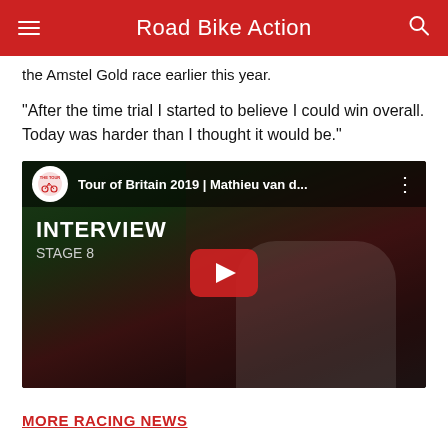Road Bike Action
the Amstel Gold race earlier this year.
“After the time trial I started to believe I could win overall. Today was harder than I thought it would be.”
[Figure (screenshot): YouTube video embed thumbnail showing Tour of Britain 2019 | Mathieu van d... interview Stage 8, with a cyclist in a white Corendon-Circus jersey being interviewed, with a YouTube play button overlay.]
MORE RACING NEWS